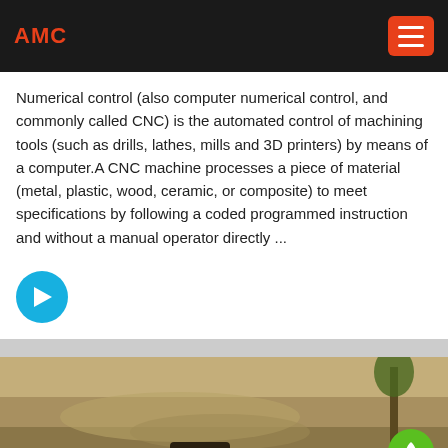AMC
Numerical control (also computer numerical control, and commonly called CNC) is the automated control of machining tools (such as drills, lathes, mills and 3D printers) by means of a computer.A CNC machine processes a piece of material (metal, plastic, wood, ceramic, or composite) to meet specifications by following a coded programmed instruction and without a manual operator directly ...
[Figure (other): Blue circular arrow/next button icon]
[Figure (photo): Aerial or ground-level photo of earthmoving or mining equipment on sandy/dirt terrain]
email   onlineChat   message